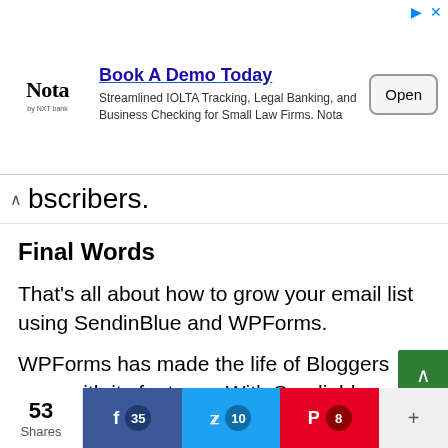[Figure (screenshot): Advertisement banner for Nota by NXT bank. Heading: 'Book A Demo Today'. Description: 'Streamlined IOLTA Tracking, Legal Banking, and Business Checking for Small Law Firms. Nota'. Has an Open button on the right.]
bscribers.
Final Words
That's all about how to grow your email list using SendinBlue and WPForms.
WPForms has made the life of Bloggers easy with its features. With Sendinblue addon, it has become...
53 Shares | Facebook 35 | Twitter 10 | Pinterest 8 | +